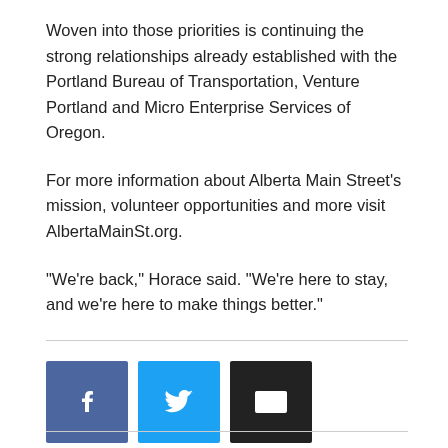Woven into those priorities is continuing the strong relationships already established with the Portland Bureau of Transportation, Venture Portland and Micro Enterprise Services of Oregon.
For more information about Alberta Main Street's mission, volunteer opportunities and more visit AlbertaMainSt.org.
“We’re back,” Horace said. “We’re here to stay, and we’re here to make things better.”
[Figure (other): Three social sharing buttons: Facebook (blue), Twitter (light blue), Email (black)]